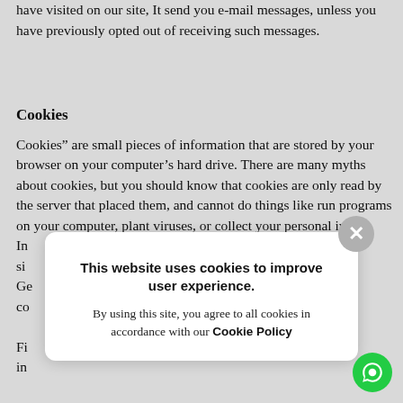have visited on our site, It send you e-mail messages, unless you have previously opted out of receiving such messages.
Cookies
Cookies” are small pieces of information that are stored by your browser on your computer’s hard drive. There are many myths about cookies, but you should know that cookies are only read by the server that placed them, and cannot do things like run programs on your computer, plant viruses, or collect your personal in[formation without your knowledge]... In[...] si[...] Ge[...] co[...] Fi[...] in[...]
[Figure (screenshot): Cookie consent popup overlay reading: 'This website uses cookies to improve user experience. By using this site, you agree to all cookies in accordance with our Cookie Policy' with a close (X) button in the top right corner and a green chat widget button in the bottom right corner.]